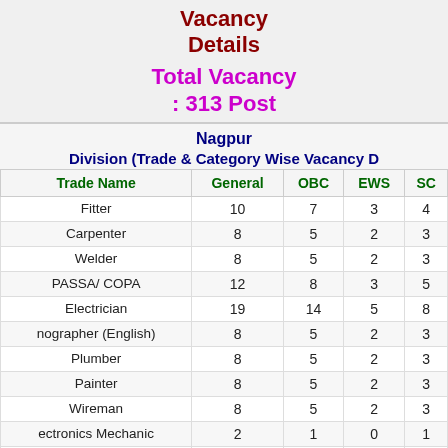Vacancy Details
Total Vacancy : 313 Post
Nagpur Division (Trade & Category Wise Vacancy Details)
| Trade Name | General | OBC | EWS | SC |
| --- | --- | --- | --- | --- |
| Fitter | 10 | 7 | 3 | 4 |
| Carpenter | 8 | 5 | 2 | 3 |
| Welder | 8 | 5 | 2 | 3 |
| PASSA/ COPA | 12 | 8 | 3 | 5 |
| Electrician | 19 | 14 | 5 | 8 |
| Stenographer (English) | 8 | 5 | 2 | 3 |
| Plumber | 8 | 5 | 2 | 3 |
| Painter | 8 | 5 | 2 | 3 |
| Wireman | 8 | 5 | 2 | 3 |
| Electronics Mechanic | 2 | 1 | 0 | 1 |
| Power Mechanic | 2 | 0 | 0 | 0 |